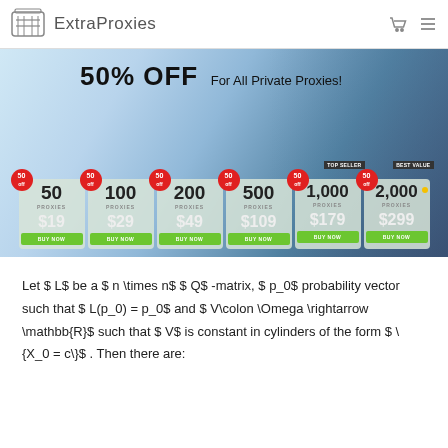ExtraProxies
[Figure (screenshot): ExtraProxies promotional banner showing 50% OFF For All Private Proxies with six pricing cards: 50 Proxies $19, 100 Proxies $29, 200 Proxies $49, 500 Proxies $109, 1,000 Proxies $179 (Top Seller), 2,000 Proxies $299 (Best Value). Each card has a red 50% off badge and a green BUY NOW button.]
Let $ L$ be a $ n \times n$ $ Q$ -matrix, $ p_0$ probability vector such that $ L(p_0) = p_0$ and $ V\colon \Omega \rightarrow \mathbb{R}$ such that $ V$ is constant in cylinders of the form $ \{X_0 = c\}$ . Then there are: